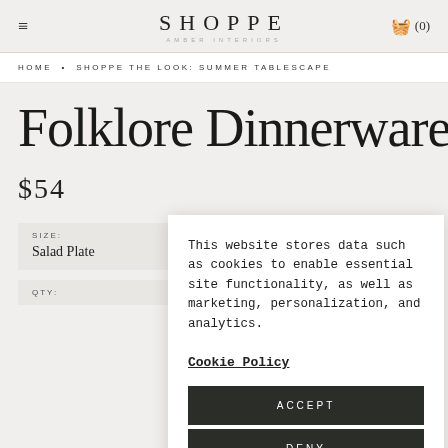SHOPPE AMBER INTERIORS — (0)
HOME • SHOPPE THE LOOK: SUMMER TABLESCAPE
Folklore Dinnerware
$54
SIZE: Salad Plate
QTY:
This website stores data such as cookies to enable essential site functionality, as well as marketing, personalization, and analytics.
Cookie Policy
ACCEPT
DENY